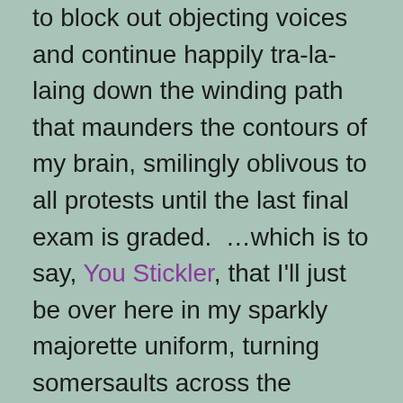to block out objecting voices and continue happily tra-la-laing down the winding path that maunders the contours of my brain, smilingly oblivous to all protests until the last final exam is graded.  …which is to say, You Stickler, that I'll just be over here in my sparkly majorette uniform, turning somersaults across the expanse of my frontal lobe with my pet monkey Chico Bon-Bon, while you stand phlegmatically at the counter kneading the bread, resolutely refusing to stir in the slightest hint of chili flakes or whimsy because it's. not. in. the. recipe.

So, yes, Kramer lit up the episodes; he